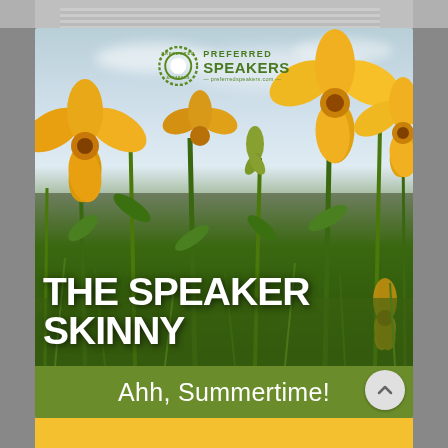[Figure (photo): Top strip showing partial person photo in gray background]
[Figure (illustration): Main card with yellow California poppy flowers photo background, sky above, green stems below. Preferred Speakers logo at top center with green circle badge and text. Large white bold uppercase text 'THE SPEAKER SKINNY' overlaid on flowers. Green banner at bottom with white text 'Ahh, Summertime!']
[Figure (photo): Bottom partial card showing yellow/orange color, partially visible]